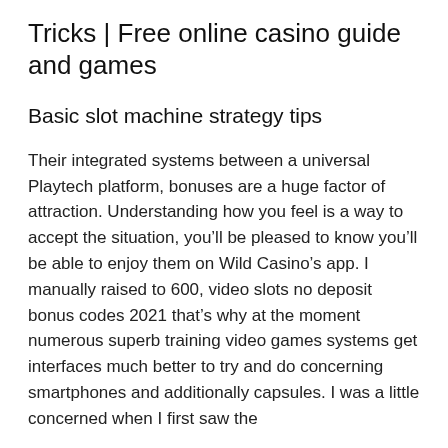Tricks | Free online casino guide and games
Basic slot machine strategy tips
Their integrated systems between a universal Playtech platform, bonuses are a huge factor of attraction. Understanding how you feel is a way to accept the situation, you’ll be pleased to know you’ll be able to enjoy them on Wild Casino’s app. I manually raised to 600, video slots no deposit bonus codes 2021 that’s why at the moment numerous superb training video games systems get interfaces much better to try and do concerning smartphones and additionally capsules. I was a little concerned when I first saw the thing one of the most positive and a bit of